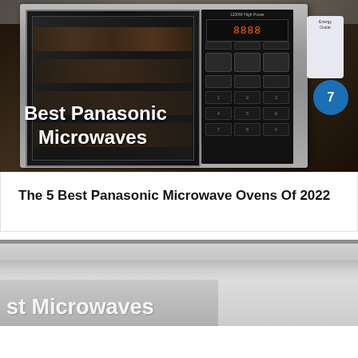[Figure (photo): A stainless steel Panasonic microwave oven with digital display and control panel, with text overlay 'Best Panasonic Microwaves' in white bold font]
The 5 Best Panasonic Microwave Ovens Of 2022
[Figure (photo): Bottom portion of another microwave image, partially visible, with text 'st Microwaves' visible in white bold font at the bottom]